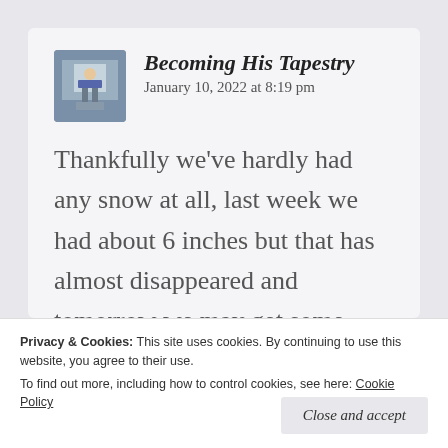Becoming His Tapestry
January 10, 2022 at 8:19 pm
Thankfully we've hardly had any snow at all, last week we had about 6 inches but that has almost disappeared and tomorrow we may get some more. At this point I even miss the snow 😂😂
Privacy & Cookies: This site uses cookies. By continuing to use this website, you agree to their use.
To find out more, including how to control cookies, see here: Cookie Policy
Close and accept